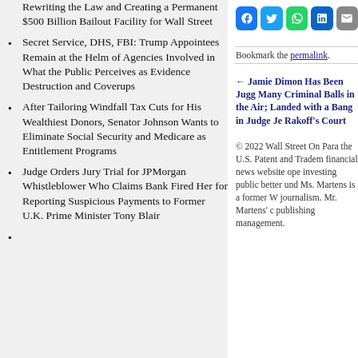Rewriting the Law and Creating a Permanent $500 Billion Bailout Facility for Wall Street
Secret Service, DHS, FBI: Trump Appointees Remain at the Helm of Agencies Involved in What the Public Perceives as Evidence Destruction and Coverups
After Tailoring Windfall Tax Cuts for His Wealthiest Donors, Senator Johnson Wants to Eliminate Social Security and Medicare as Entitlement Programs
Judge Orders Jury Trial for JPMorgan Whistleblower Who Claims Bank Fired Her for Reporting Suspicious Payments to Former U.K. Prime Minister Tony Blair
[Figure (other): Social media share icons: Facebook, Twitter, WhatsApp, LinkedIn, Email]
Bookmark the permalink.
← Jamie Dimon Has Been Jugg Many Criminal Balls in the Air; Landed with a Bang in Judge Je Rakoff's Court
© 2022 Wall Street On Para the U.S. Patent and Tradem financial news website ope investing public better und Ms. Martens is a former W journalism. Mr. Martens' c publishing management.